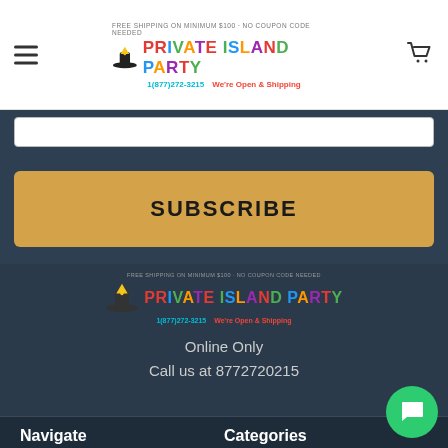Private Island Party - FREE SHIPPING ON MINIMUM $100 - NO COUPON CODE NEEDED | 1(877)272-3215 We're Open & Shipping
SUBSCRIBE
[Figure (logo): Private Island Party logo with colorful text, phone number 1(877)272-3215 and We're Open & Shipping]
Online Only
Call us at 8772720215
Navigate
Categories